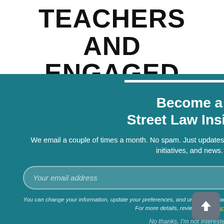TEACHERS AND ENGAGED STUDENTS
[Figure (screenshot): Email subscription modal overlay on a teal background. Modal titled 'Become a Street Law Insider!' with body text, email input field, yellow Subscribe button, privacy fine print with Privacy Policy link, and 'No thanks, I'm not interested.' dismiss link. A close X button is in the top right of the modal. Partial list item text visible on right side behind modal: 'ourage', 'hore', 'esources', 'egal', 'r', 'al history', 's, while', 'erials into', 'elines in', 'elp'. Gray back-to-top button at bottom right.]
Become a Street Law Insider!
We email a couple of times a month. No spam. Just updates about the latest Street Law resources, initiatives, and news.
You can change your information, update your preferences, and unsubscribe anytime by clicking the link in the footer of our emails. For more details, review our Privacy Policy
No thanks, I'm not interested.